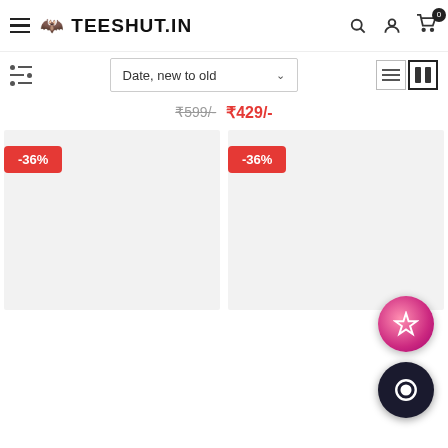TeesHut.in - Header with hamburger menu, logo, search, user and cart icons
Date, new to old - Sort dropdown with filter and view toggle icons
₹599/- ₹429/-
[Figure (screenshot): Product card placeholder with -36% discount badge on left]
[Figure (screenshot): Product card placeholder with -36% discount badge on left]
[Figure (other): Pink gradient circle button with star/flower icon (reviews button)]
[Figure (other): Dark circle button with chat bubble icon]